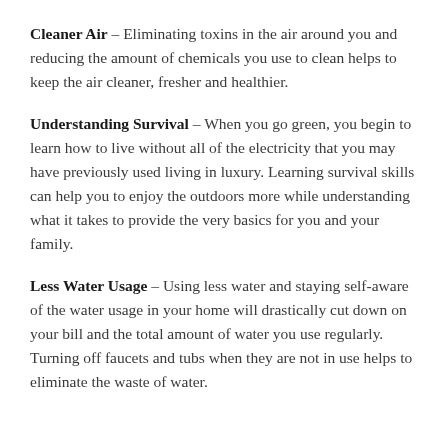Cleaner Air – Eliminating toxins in the air around you and reducing the amount of chemicals you use to clean helps to keep the air cleaner, fresher and healthier.
Understanding Survival – When you go green, you begin to learn how to live without all of the electricity that you may have previously used living in luxury. Learning survival skills can help you to enjoy the outdoors more while understanding what it takes to provide the very basics for you and your family.
Less Water Usage – Using less water and staying self-aware of the water usage in your home will drastically cut down on your bill and the total amount of water you use regularly. Turning off faucets and tubs when they are not in use helps to eliminate the waste of water.